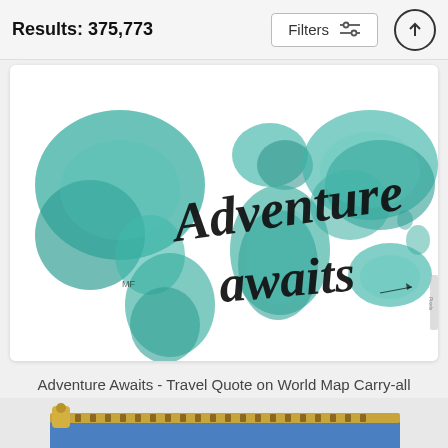Results: 375,773
[Figure (screenshot): A white carry-all pouch featuring a watercolor world map in teal/green shades with cursive text 'Adventure awaits' overlaid in black script lettering]
Adventure Awaits - Travel Quote on World Map Carry-all Pouch
Michelle Eshleman
$25
[Figure (photo): Partial peek of next product - appears to be a blue item with a gold zipper at the bottom of the screen]